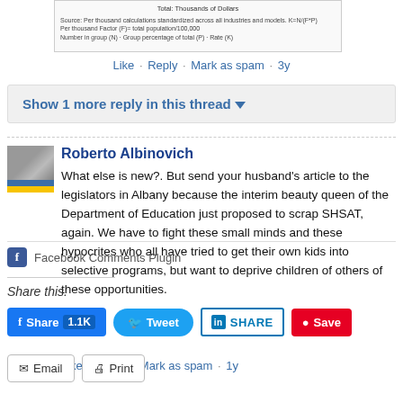[Figure (table-as-image): Partial view of a data table with footnotes about per thousand calculations, standardized across industries and models.]
Like · Reply · Mark as spam · 3y
Show 1 more reply in this thread ▼
Roberto Albinovich
What else is new?. But send your husband's article to the legislators in Albany because the interim beauty queen of the Department of Education just proposed to scrap SHSAT, again. We have to fight these small minds and these hypocrites who all have tried to get their own kids into selective programs, but want to deprive children of others of these opportunities.
Like · Reply · Mark as spam · 1y
Facebook Comments Plugin
Share this:
Share 1.1K
Tweet
SHARE
Save
Email
Print